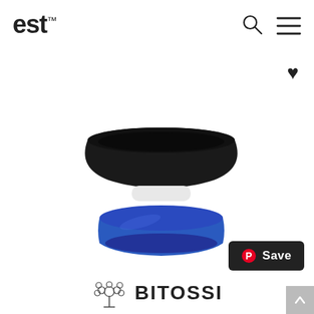est™
[Figure (photo): A ceramic bowl with black top, white middle band, and blue base/pedestal, photographed on white background]
[Figure (logo): Pinterest Save button - dark rounded rectangle with Pinterest icon and Save text]
[Figure (logo): Bitossi brand logo - tree/floral emblem and BITOSSI text in bold]